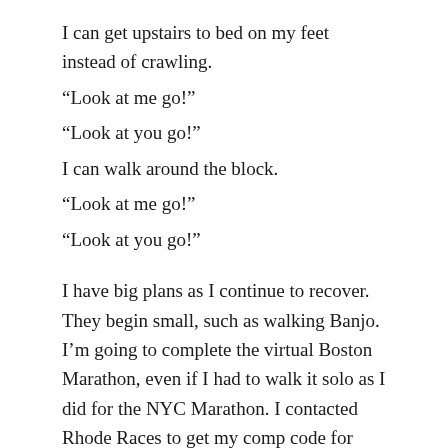I can get upstairs to bed on my feet instead of crawling.
“Look at me go!”
“Look at you go!”
I can walk around the block.
“Look at me go!”
“Look at you go!”
I have big plans as I continue to recover. They begin small, such as walking Banjo. I’m going to complete the virtual Boston Marathon, even if I had to walk it solo as I did for the NYC Marathon. I contacted Rhode Races to get my comp code for volunteering at the Newport Marathon. I will be signing up for next year’s Narragansett Half-Marathon.
Be prepared for many more cries of, “Look at me go!”